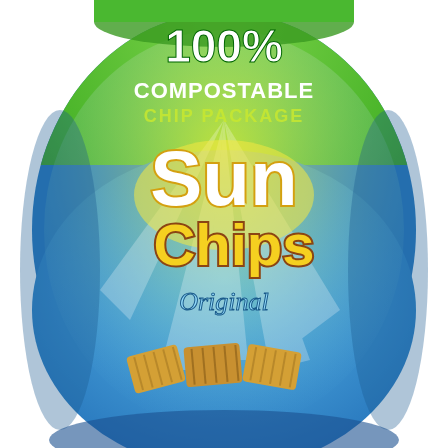[Figure (photo): SunChips Original flavor snack bag with '100% COMPOSTABLE CHIP PACKAGE' text at the top. The bag has a green top section and blue main body. The SunChips logo is displayed prominently in white and yellow lettering. 'Original' flavor text appears in light blue below the logo. Several SunChips snack chips are shown at the bottom of the bag.]